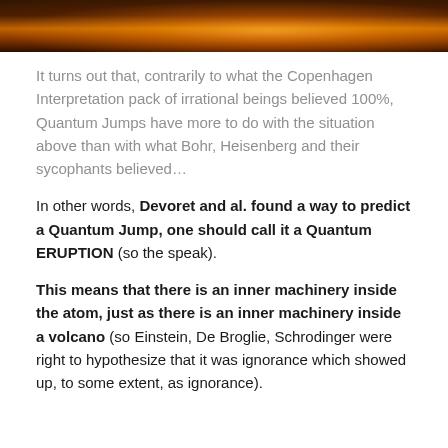[Figure (photo): Dark image showing volcanic or fiery landscape with orange/amber glow, partially cropped at top of page]
It turns out that, contrarily to what the Copenhagen Interpretation pack of irrational beings believed 100%, Quantum Jumps have more to do with the situation above than with what Bohr, Heisenberg and their sycophants believed…
In other words, Devoret and al. found a way to predict a Quantum Jump, one should call it a Quantum ERUPTION (so the speak).
This means that there is an inner machinery inside the atom, just as there is an inner machinery inside a volcano (so Einstein, De Broglie, Schrodinger were right to hypothesize that it was ignorance which showed up, to some extent, as ignorance).